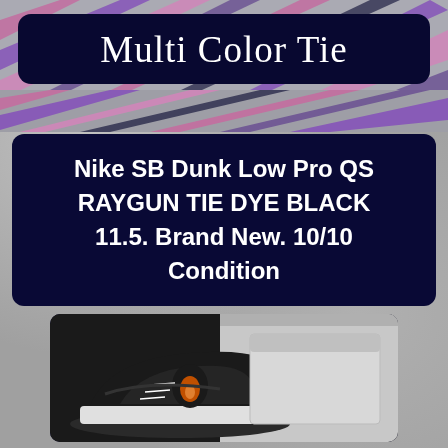[Figure (photo): Top strip showing tie-dye pattern in pink, purple, black and white colors — part of Nike Raygun Tie Dye shoe]
Multi Color Tie
Nike SB Dunk Low Pro QS RAYGUN TIE DYE BLACK 11.5. Brand New. 10/10 Condition
[Figure (photo): Photo of Nike SB Dunk Low Pro QS Raygun Tie Dye Black sneaker, showing the toe box and midsole area of the shoe in a box]